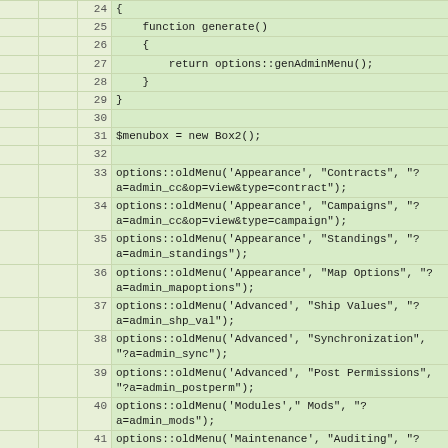|  |  | line | code |
| --- | --- | --- | --- |
|  |  | 24 | { |
|  |  | 25 |     function generate() |
|  |  | 26 |     { |
|  |  | 27 |         return options::genAdminMenu(); |
|  |  | 28 |     } |
|  |  | 29 | } |
|  |  | 30 |  |
|  |  | 31 | $menubox = new Box2(); |
|  |  | 32 |  |
|  |  | 33 | options::oldMenu('Appearance', "Contracts", "?a=admin_cc&op=view&type=contract"); |
|  |  | 34 | options::oldMenu('Appearance', "Campaigns", "?a=admin_cc&op=view&type=campaign"); |
|  |  | 35 | options::oldMenu('Appearance', "Standings", "?a=admin_standings"); |
|  |  | 36 | options::oldMenu('Appearance', "Map Options", "?a=admin_mapoptions"); |
|  |  | 37 | options::oldMenu('Advanced', "Ship Values", "?a=admin_shp_val"); |
|  |  | 38 | options::oldMenu('Advanced', "Synchronization", "?a=admin_sync"); |
|  |  | 39 | options::oldMenu('Advanced', "Post Permissions", "?a=admin_postperm"); |
|  |  | 40 | options::oldMenu('Modules'," Mods", "?a=admin_mods"); |
|  |  | 41 | options::oldMenu('Maintenance', "Auditing", "?a=admin_audit"); |
|  |  | 42 | options::oldMenu('Maintenance', "Kill Import - files", "?a=kill_import"); |
|  |  | 43 | options::oldMenu('Maintenance', "Kill Import - csv", "?a=kill_import_csv"); |
|  |  | 44 | options::oldMenu('Maintenance', "Kill Export - files", "?a=kill_export"); |
|  |  | 45 | options::oldMenu('Maintenance', "Kill Export - csv", "?a=kill_export_search"); |